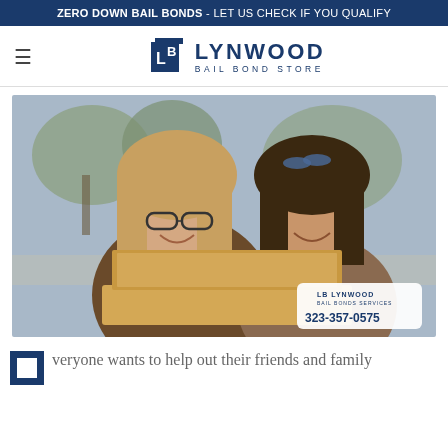ZERO DOWN BAIL BONDS - LET US CHECK IF YOU QUALIFY
[Figure (logo): Lynwood Bail Bond Store logo with LB monogram icon and text]
[Figure (photo): Two young women smiling and looking at a laptop outdoors. Watermark overlay shows Lynwood Bail Bonds Services logo and phone number 323-357-0575]
veryone wants to help out their friends and family